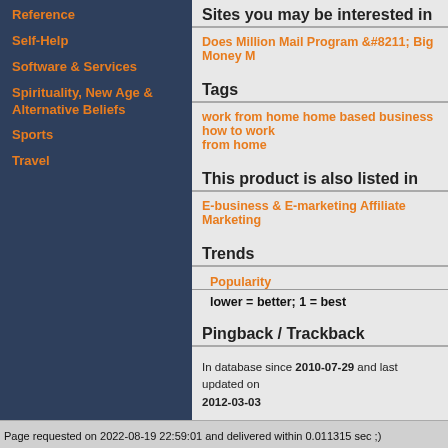Reference
Self-Help
Software & Services
Spirituality, New Age & Alternative Beliefs
Sports
Travel
Sites you may be interested in
Does Million Mail Program &#8211; Big Money M
Tags
work from home home based business how to work from home
This product is also listed in
E-business & E-marketing Affiliate Marketing
Trends
Popularity
lower = better; 1 = best
Pingback / Trackback
In database since 2010-07-29 and last updated on 2012-03-03
Page requested on 2022-08-19 22:59:01 and delivered within 0.011315 sec ;)